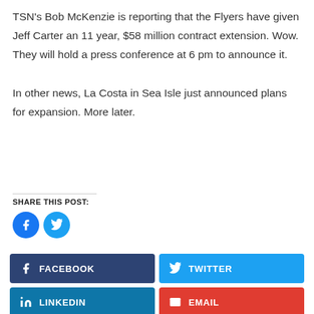TSN’s Bob McKenzie is reporting that the Flyers have given Jeff Carter an 11 year, $58 million contract extension. Wow. They will hold a press conference at 6 pm to announce it.

In other news, La Costa in Sea Isle just announced plans for expansion. More later.
SHARE THIS POST:
[Figure (other): Facebook and Twitter circular share icon buttons]
[Figure (other): Four social share buttons: Facebook (dark blue), Twitter (light blue), LinkedIn (teal), Email (red)]